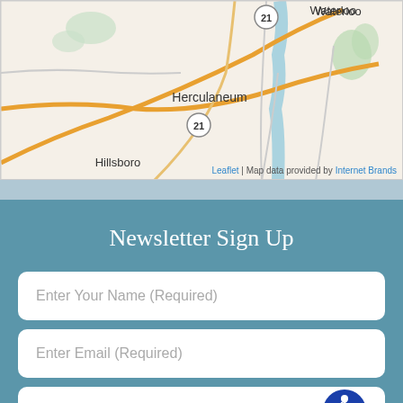[Figure (map): Street map showing Herculaneum, Hillsboro area with route 21 markers. Map data provided by Leaflet and Internet Brands.]
Newsletter Sign Up
Enter Your Name (Required)
Enter Email (Required)
(XXX)XXX-XXXX (Required)